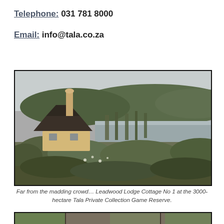Telephone: 031 781 8000
Email: info@tala.co.za
[Figure (photo): Photograph of Leadwood Lodge Cottage No 1 at Tala Private Collection Game Reserve, showing a thatched-roof cottage beside a river surrounded by lush vegetation and hills in the background.]
Far from the madding crowd… Leadwood Lodge Cottage No 1 at the 3000-hectare Tala Private Collection Game Reserve.
[Figure (photo): Bottom strip photo of lodge interior or exterior, partially visible.]